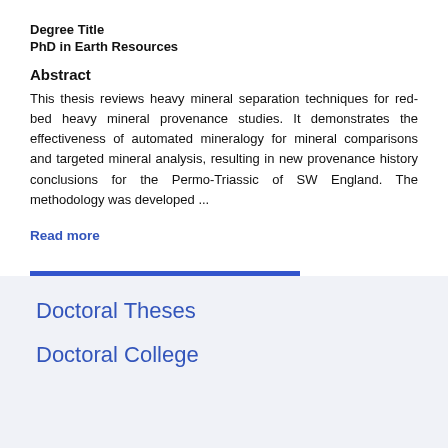Degree Title
PhD in Earth Resources
Abstract
This thesis reviews heavy mineral separation techniques for red-bed heavy mineral provenance studies. It demonstrates the effectiveness of automated mineralogy for mineral comparisons and targeted mineral analysis, resulting in new provenance history conclusions for the Permo-Triassic of SW England. The methodology was developed ...
Read more
View full metadata
Doctoral Theses
Doctoral College